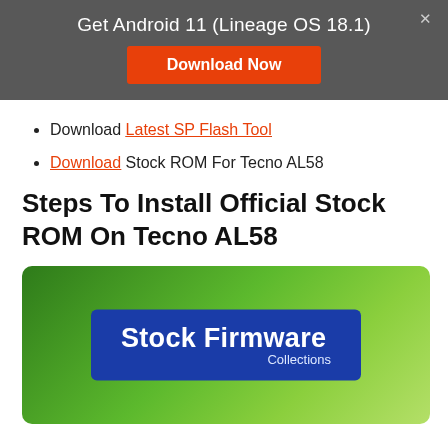Get Android 11 (Lineage OS 18.1)
Download Latest SP Flash Tool
Download Stock ROM For Tecno AL58
Steps To Install Official Stock ROM On Tecno AL58
[Figure (illustration): Green gradient banner with blue rectangle label reading 'Stock Firmware Collections']